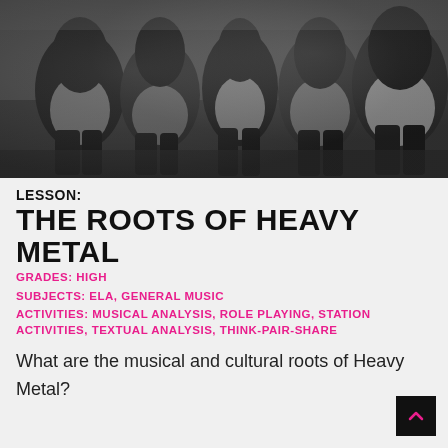[Figure (photo): Black and white photograph of a group of young people with long hair sitting on grass, appearing to be from the late 1960s or early 1970s, representative of the hippie/rock era.]
LESSON:
THE ROOTS OF HEAVY METAL
GRADES: HIGH
SUBJECTS: ELA, GENERAL MUSIC
ACTIVITIES: MUSICAL ANALYSIS, ROLE PLAYING, STATION ACTIVITIES, TEXTUAL ANALYSIS, THINK-PAIR-SHARE
What are the musical and cultural roots of Heavy Metal?